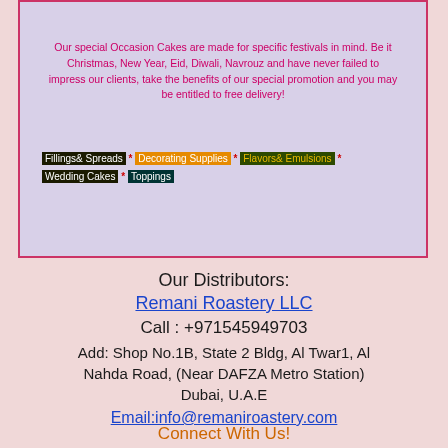Our special Occasion Cakes are made for specific festivals in mind. Be it Christmas, New Year, Eid, Diwali, Navrouz and have never failed to impress our clients, take the benefits of our special promotion and you may be entitled to free delivery!
Fillings& Spreads * Decorating Supplies * Flavors& Emulsions * Wedding Cakes * Toppings
Our Distributors:
Remani Roastery LLC
Call : +971545949703
Add: Shop No.1B, State 2 Bldg, Al Twar1, Al Nahda Road, (Near DAFZA Metro Station) Dubai, U.A.E
Email:info@remaniroastery.com
Connect With Us!